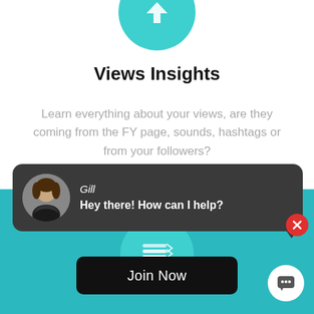[Figure (illustration): Teal circular icon partially visible at the top of the page]
Views Insights
Learn everything about your views, are they coming from the FY page, sounds, hashtags or from your followers?
[Figure (illustration): Teal circular icon with white stack/layers icon in the center]
[Figure (screenshot): Chat popup card with avatar of a woman named Gill saying 'Hey there! How can I help?']
Join Now
[Figure (illustration): Chat widget button with speech bubble icon at bottom right]